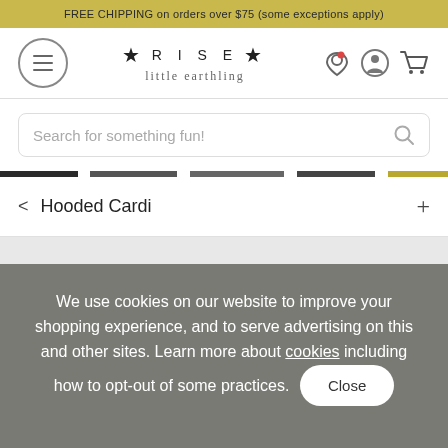FREE CHIPPING on orders over $75 (some exceptions apply)
[Figure (logo): Rise Little Earthling logo with hamburger menu icon and navigation icons (location, profile, cart)]
Search for something fun!
< Hooded Cardi +
We use cookies on our website to improve your shopping experience, and to serve advertising on this and other sites. Learn more about cookies including how to opt-out of some practices.
Close